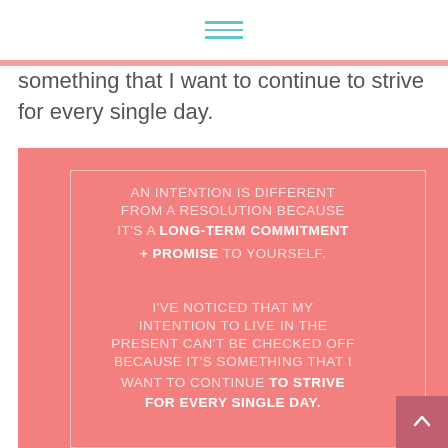☰
something that I want to continue to strive for every single day.
[Figure (infographic): Salmon/coral pink motivational quote graphic with white border inset. Text reads: AN INTENTION IS DIFFERENT FROM A RESOLUTION BECAUSE IT'S A LONG-TERM COMMITMENT + PROMISE TO YOURSELF. I'VE NOTICED THAT MY INTENTION TO LIVE IN THE PRESENT CAN'T BE CHECKED OFF BECAUSE IT'S SOMETHING THAT I WANT TO CONTINUE TO STRIVE FOR EVERY SINGLE DAY. With a back-to-top button in dark rose at bottom right.]